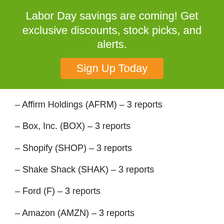Labor Day savings are coming! Get exclusive discounts, stock picks, and alerts.
Sign Up Today
– Affirm Holdings (AFRM) – 3 reports
– Box, Inc. (BOX) – 3 reports
– Shopify (SHOP) – 3 reports
– Shake Shack (SHAK) – 3 reports
– Ford (F) – 3 reports
– Amazon (AMZN) – 3 reports
– Eventbrite (EB) – 3 reports
– Equinix (EQIX) – 3 reports
– Pinterest (PINS) – 4 reports
– Allstate (ALL) – 3 reports